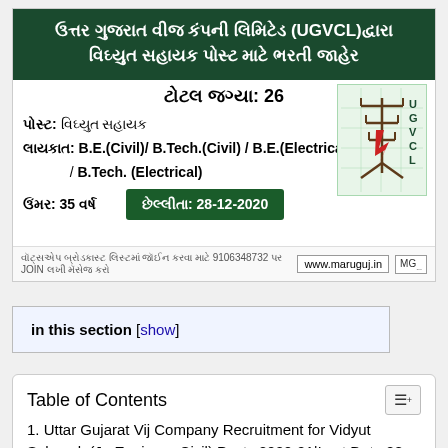[Figure (infographic): UGVCL recruitment advertisement banner in Gujarati. Dark green header with white Gujarati text announcing Uttar Gujarat Vij Company Limited (UGVCL) recruitment for Vidyut Sahayak post. Body shows total vacancies 26, post name, qualifications (B.E./B.Tech Civil/Electrical), age 35 years, last date 28-12-2020, UGVCL logo, and website www.maruguj.in]
in this section [show]
Table of Contents
1. Uttar Gujarat Vij Company Recruitment for Vidyut Sahayak (Jr. Engineer-Civil) Posts 2020-21|Last Date 28 December 2020
1.1. 01: Vidyut Sahayak (Jr. Engineer-Civil)
1.2. 02: Vidyut Sahayak (Jr. Engineer-Electrical)